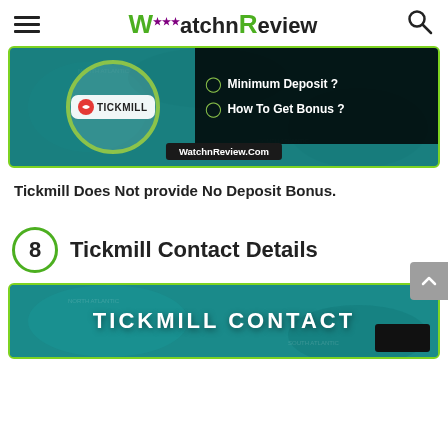WatchnReview
[Figure (infographic): Tickmill banner showing logo in a green circle on teal map background, with black box on the right showing 'Minimum Deposit?' and 'How To Get Bonus?' with green checkmarks, and WatchnReview.Com URL at bottom]
Tickmill Does Not provide No Deposit Bonus.
8  Tickmill Contact Details
[Figure (infographic): Tickmill Contact banner with bold white text 'TICKMILL CONTACT' on teal map background with green border, and a black box in lower right]